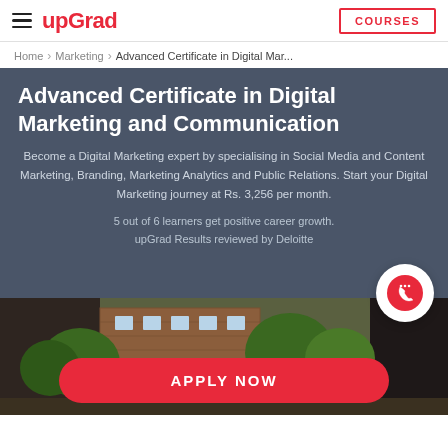upGrad | COURSES
Home > Marketing > Advanced Certificate in Digital Mar...
Advanced Certificate in Digital Marketing and Communication
Become a Digital Marketing expert by specialising in Social Media and Content Marketing, Branding, Marketing Analytics and Public Relations. Start your Digital Marketing journey at Rs. 3,256 per month.
5 out of 6 learners get positive career growth.
upGrad Results reviewed by Deloitte
[Figure (photo): Campus/institution background photo with greenery and brick building]
APPLY NOW